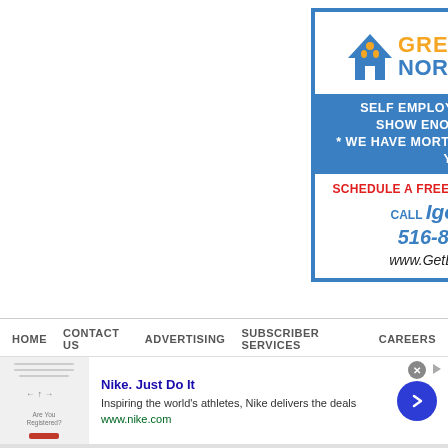[Figure (logo): Great Northern Mortgage Corporation advertisement. Logo with house/family icon in blue and orange. Headline: SELF EMPLOYED AND DO NOT SHOW ENOUGH INCOME? * WE HAVE MORTGAGE OPTIONS FOR YOU! CTA: SCHEDULE A FREE CONSULTATION NOW! CALL Igor Noble 516-888-1111 www.GetLowRate.com]
HOME | CONTACT US | ADVERTISING | SUBSCRIBER SERVICES | CAREERS
[Figure (infographic): Nike. Just Do It — Inspiring the world's athletes, Nike delivers the deals. www.nike.com — display ad banner with thumbnail, close button, and navigation chevron.]